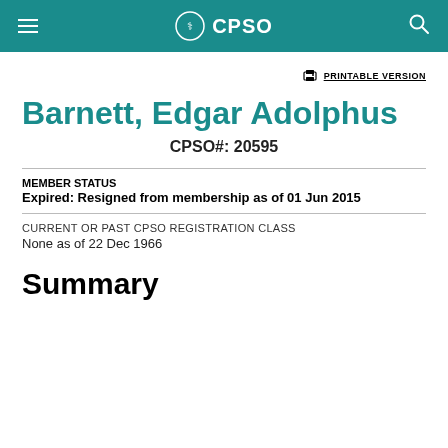CPSO
PRINTABLE VERSION
Barnett, Edgar Adolphus
CPSO#: 20595
MEMBER STATUS
Expired: Resigned from membership as of 01 Jun 2015
CURRENT OR PAST CPSO REGISTRATION CLASS
None as of 22 Dec 1966
Summary